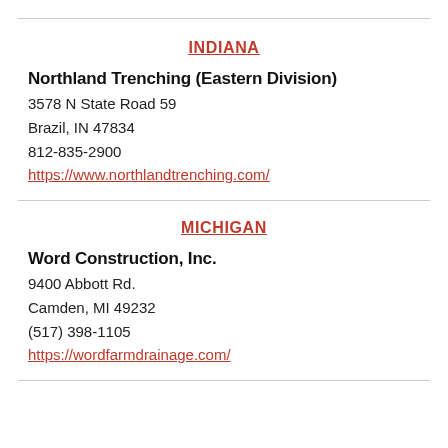INDIANA
Northland Trenching (Eastern Division)
3578 N State Road 59
Brazil, IN 47834
812-835-2900
https://www.northlandtrenching.com/
MICHIGAN
Word Construction, Inc.
9400 Abbott Rd.
Camden, MI 49232
(517) 398-1105
https://wordfarmdrainage.com/